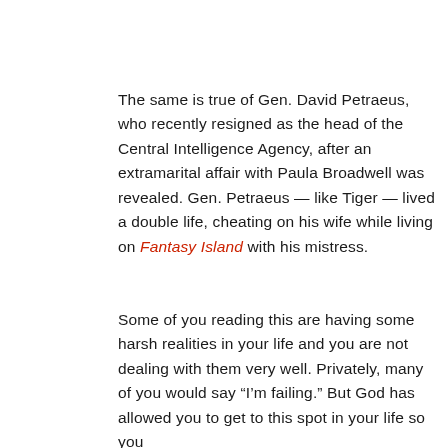The same is true of Gen. David Petraeus, who recently resigned as the head of the Central Intelligence Agency, after an extramarital affair with Paula Broadwell was revealed. Gen. Petraeus — like Tiger — lived a double life, cheating on his wife while living on Fantasy Island with his mistress.
Some of you reading this are having some harsh realities in your life and you are not dealing with them very well. Privately, many of you would say "I'm failing." But God has allowed you to get to this spot in your life so you